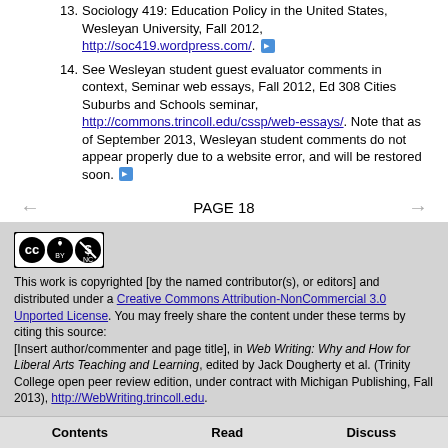13. Sociology 419: Education Policy in the United States, Wesleyan University, Fall 2012, http://soc419.wordpress.com/.
14. See Wesleyan student guest evaluator comments in context, Seminar web essays, Fall 2012, Ed 308 Cities Suburbs and Schools seminar, http://commons.trincoll.edu/cssp/web-essays/. Note that as of September 2013, Wesleyan student comments do not appear properly due to a website error, and will be restored soon.
PAGE 18
[Figure (logo): Creative Commons BY-NC license logo]
This work is copyrighted [by the named contributor(s), or editors] and distributed under a Creative Commons Attribution-NonCommercial 3.0 Unported License. You may freely share the content under these terms by citing this source:
[Insert author/commenter and page title], in Web Writing: Why and How for Liberal Arts Teaching and Learning, edited by Jack Dougherty et al. (Trinity College open peer review edition, under contract with Michigan Publishing, Fall 2013), http://WebWriting.trincoll.edu.
Contents   Read   Discuss